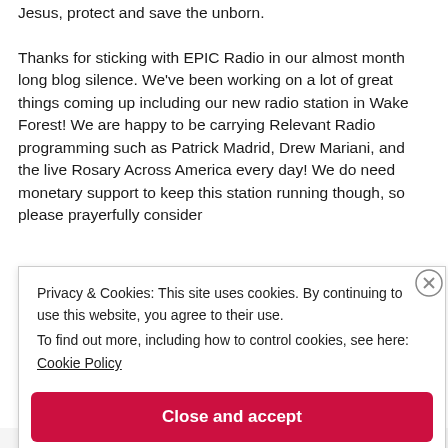Jesus, protect and save the unborn. Thanks for sticking with EPIC Radio in our almost month long blog silence. We've been working on a lot of great things coming up including our new radio station in Wake Forest! We are happy to be carrying Relevant Radio programming such as Patrick Madrid, Drew Mariani, and the live Rosary Across America every day! We do need monetary support to keep this station running though, so please prayerfully consider
Privacy & Cookies: This site uses cookies. By continuing to use this website, you agree to their use.
To find out more, including how to control cookies, see here:
Cookie Policy
Close and accept